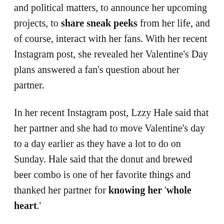and political matters, to announce her upcoming projects, to share sneak peeks from her life, and of course, interact with her fans. With her recent Instagram post, she revealed her Valentine's Day plans answered a fan's question about her partner.
In her recent Instagram post, Lzzy Hale said that her partner and she had to move Valentine's day to a day earlier as they have a lot to do on Sunday. Hale said that the donut and brewed beer combo is one of her favorite things and thanked her partner for knowing her 'whole heart.'
As she didn't mention any names in her Instagram post, some fans were asking who her partner is. A fan